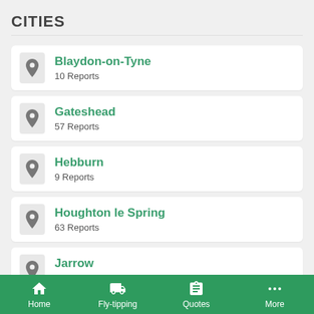CITIES
Blaydon-on-Tyne
10 Reports
Gateshead
57 Reports
Hebburn
9 Reports
Houghton le Spring
63 Reports
Jarrow
8 Reports
Newcastle upon Tyne
172 Reports
Home  Fly-tipping  Quotes  More